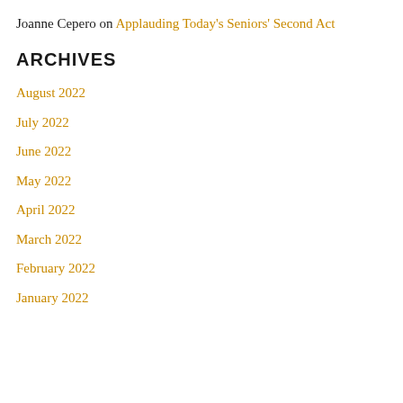Joanne Cepero on Applauding Today's Seniors' Second Act
ARCHIVES
August 2022
July 2022
June 2022
May 2022
April 2022
March 2022
February 2022
January 2022